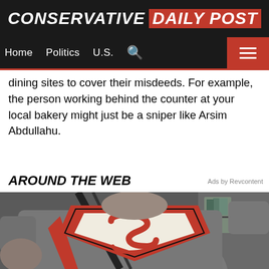CONSERVATIVE DAILY POST
Home  Politics  U.S.
dining sites to cover their misdeeds. For example, the person working behind the counter at your local bakery might just be a sniper like Arsim Abdullahu.
AROUND THE WEB
Ads by Revcontent
[Figure (photo): A muscular person wearing a gray Superman logo compression shirt in a gym setting]